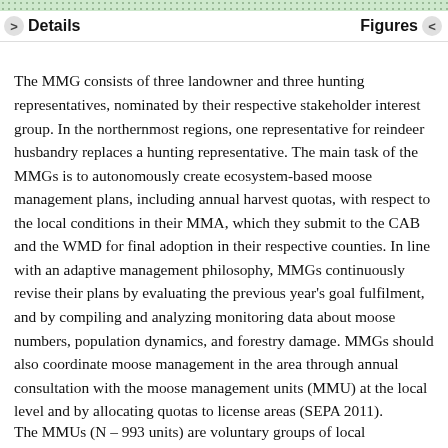Details    Figures
The MMG consists of three landowner and three hunting representatives, nominated by their respective stakeholder interest group. In the northernmost regions, one representative for reindeer husbandry replaces a hunting representative. The main task of the MMGs is to autonomously create ecosystem-based moose management plans, including annual harvest quotas, with respect to the local conditions in their MMA, which they submit to the CAB and the WMD for final adoption in their respective counties. In line with an adaptive management philosophy, MMGs continuously revise their plans by evaluating the previous year’s goal fulfilment, and by compiling and analyzing monitoring data about moose numbers, population dynamics, and forestry damage. MMGs should also coordinate moose management in the area through annual consultation with the moose management units (MMU) at the local level and by allocating quotas to license areas (SEPA 2011).
The MMUs (N – 993 units) are voluntary groups of local